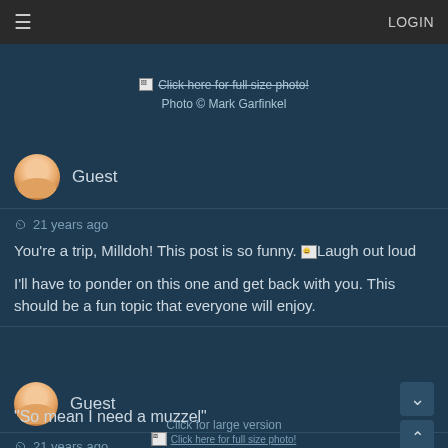≡   LOGIN
[Figure (screenshot): Broken image placeholder with text 'Click here for full size photo!']
Photo © Mark Garfinkel
Guest
21 years ago
You're a trip, Milldoh! This post is so funny. [Laugh out loud emoji] I'll have to ponder on this one and get back with you. This should be a fun topic that everyone will enjoy.
Guest
21 years ago
"So mean I need a muzzel"
Click for large version